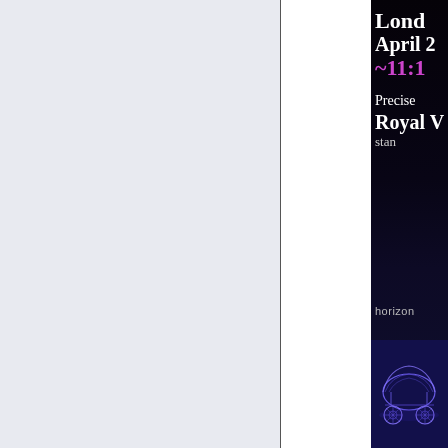[Figure (illustration): Light lavender/blue-gray background panel on the left side of the page, approximately two-thirds of the page width. A thin vertical divider line separates it from the white center strip. The right portion shows a cropped dark (near-black, deep purple-blue) panel with white and purple text about a London event, a 'horizon' label, and an illustration of what appears to be a glowing wireframe baby carriage at the bottom.]
Lond
April 2
~11:1
Precise
Royal W
stan
horizon